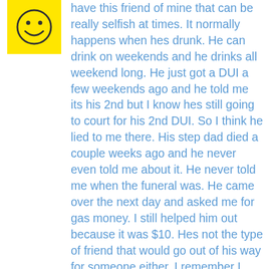[Figure (illustration): Yellow square avatar with a simple smiley face drawn in black lines]
have this friend of mine that can be really selfish at times. It normally happens when hes drunk. He can drink on weekends and he drinks all weekend long. He just got a DUI a few weekends ago and he told me its his 2nd but I know hes still going to court for his 2nd DUI. So I think he lied to me there. His step dad died a couple weeks ago and he never even told me about it. He never told me when the funeral was. He came over the next day and asked me for gas money. I still helped him out because it was $10. Hes not the type of friend that would go out of his way for someone either. I remember I bought beer for us when we went to this party one weekend. Then the next day he didn't even give me a ride home. He excuss was hes too hung over so I took the bus. Also if he